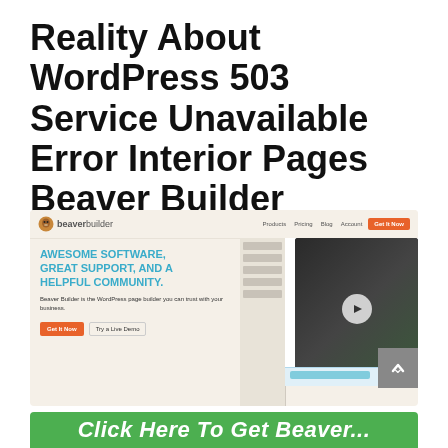Reality About WordPress 503 Service Unavailable Error Interior Pages Beaver Builder
[Figure (screenshot): Screenshot of Beaver Builder website homepage showing logo, navigation with Products, Pricing, Blog, Account links, orange 'Get It Now' button, blue headline 'AWESOME SOFTWARE, GREAT SUPPORT, AND A HELPFUL COMMUNITY.', description text, orange 'Get It Now' CTA button, 'Try a Live Demo' button, and a video/tablet mockup on the right. A gray scroll-to-top button with an up arrow is in the bottom-right corner.]
Click Here To Get Beaver...